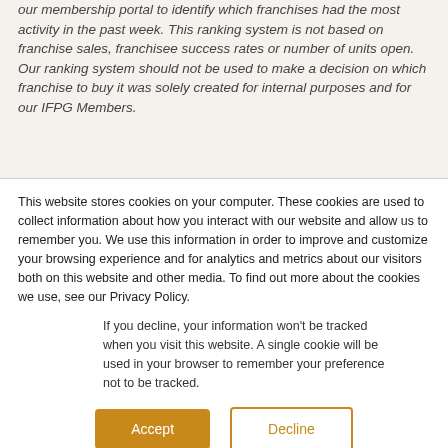our membership portal to identify which franchises had the most activity in the past week. This ranking system is not based on franchise sales, franchisee success rates or number of units open. Our ranking system should not be used to make a decision on which franchise to buy it was solely created for internal purposes and for our IFPG Members.
This website stores cookies on your computer. These cookies are used to collect information about how you interact with our website and allow us to remember you. We use this information in order to improve and customize your browsing experience and for analytics and metrics about our visitors both on this website and other media. To find out more about the cookies we use, see our Privacy Policy.
If you decline, your information won't be tracked when you visit this website. A single cookie will be used in your browser to remember your preference not to be tracked.